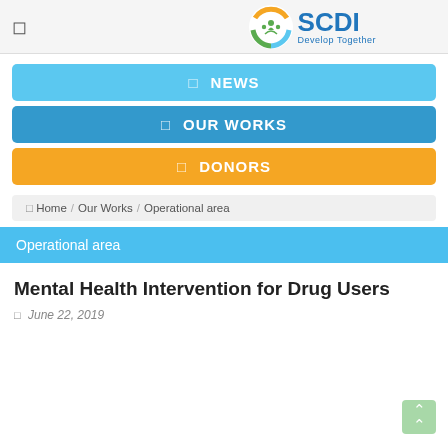SCDI Develop Together
NEWS
OUR WORKS
DONORS
Home / Our Works / Operational area
Operational area
Mental Health Intervention for Drug Users
June 22, 2019